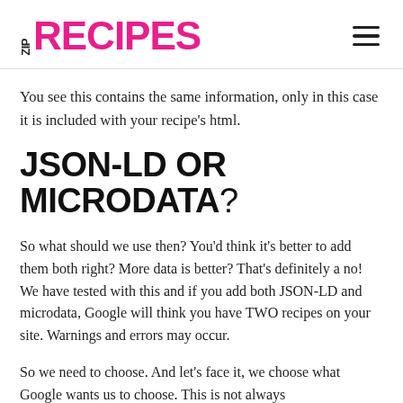ZIP RECIPES
You see this contains the same information, only in this case it is included with your recipe's html.
JSON-LD OR MICRODATA?
So what should we use then? You'd think it's better to add them both right? More data is better? That's definitely a no! We have tested with this and if you add both JSON-LD and microdata, Google will think you have TWO recipes on your site. Warnings and errors may occur.
So we need to choose. And let's face it, we choose what Google wants us to choose. This is not always